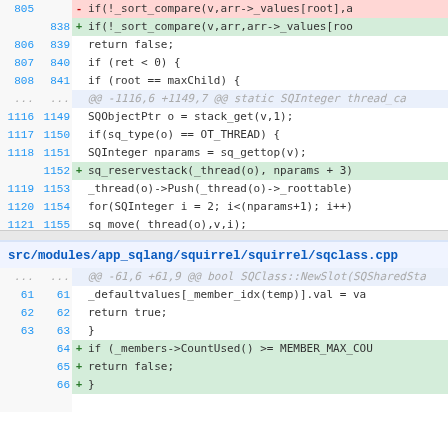[Figure (screenshot): Code diff view showing two hunks. First hunk: lines 805-808 (old) / 838-841 (new) showing sort_compare changes. Second hunk: lines 1116-1121 (old) / 1149-1155 (new) showing SQObjectPtr and thread changes.]
src/modules/app_sqlang/squirrel/squirrel/sqclass.cpp
[Figure (screenshot): Code diff view for sqclass.cpp showing hunk at -61,6 +61,9 with bool SQClass::NewSlot changes, adding CountUsed check.]